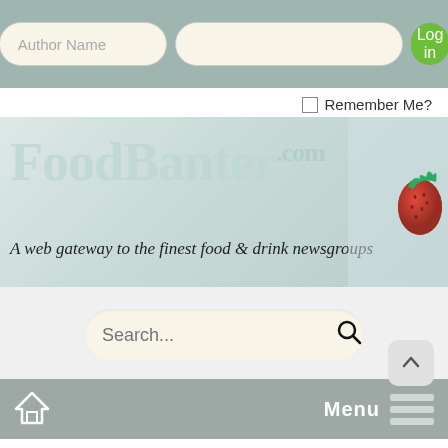Author Name | [password field] | Log in | Remember Me?
[Figure (logo): FoodBanter.com logo with tagline: A web gateway to the finest food & drink newsgroups, with strawberry background image]
Search...
Menu
FoodBanter.com » Drinking » Wine > TN: Mostly Burgs